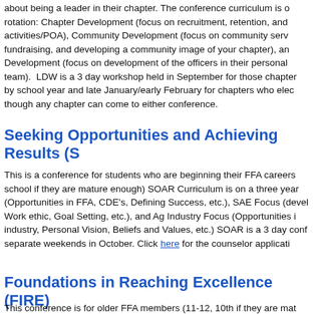about being a leader in their chapter. The conference curriculum is on a rotation: Chapter Development (focus on recruitment, retention, and activities/POA), Community Development (focus on community service, fundraising, and developing a community image of your chapter), and Development (focus on development of the officers in their personal team). LDW is a 3 day workshop held in September for those chapters by school year and late January/early February for chapters who elect though any chapter can come to either conference.
Seeking Opportunities and Achieving Results (S
This is a conference for students who are beginning their FFA careers school if they are mature enough) SOAR Curriculum is on a three year (Opportunities in FFA, CDE's, Defining Success, etc.), SAE Focus (devel Work ethic, Goal Setting, etc.), and Ag Industry Focus (Opportunities in industry, Personal Vision, Beliefs and Values, etc.) SOAR is a 3 day confe separate weekends in October. Click here for the counselor applicati
Foundations in Reaching Excellence (FIRE)
This conference is for older FFA members (11-12, 10th if they are mat